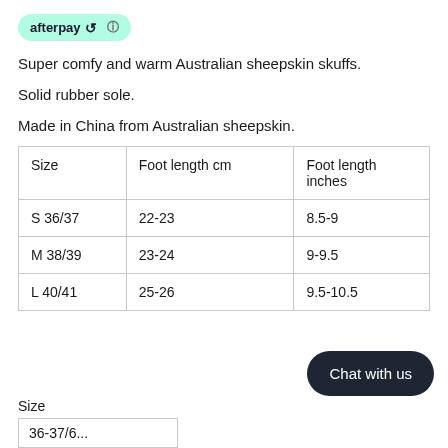[Figure (logo): Afterpay logo badge with mint green rounded rectangle background and info icon]
Super comfy and warm Australian sheepskin skuffs.
Solid rubber sole.
Made in China from Australian sheepskin.
| Size | Foot length cm | Foot length inches |
| --- | --- | --- |
| S 36/37 | 22-23 | 8.5-9 |
| M 38/39 | 23-24 | 9-9.5 |
| L 40/41 | 25-26 | 9.5-10.5 |
Chat with us
Size
36-37/6...